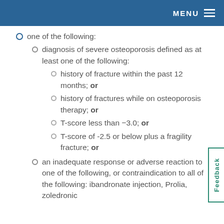MENU
one of the following:
diagnosis of severe osteoporosis defined as at least one of the following:
history of fracture within the past 12 months; or
history of fractures while on osteoporosis therapy; or
T-score less than −3.0; or
T-score of -2.5 or below plus a fragility fracture; or
an inadequate response or adverse reaction to one of the following, or contraindication to all of the following: ibandronate injection, Prolia, zoledronic